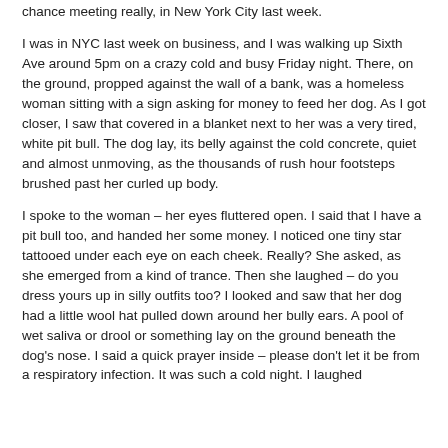chance meeting really, in New York City last week.
I was in NYC last week on business, and I was walking up Sixth Ave around 5pm on a crazy cold and busy Friday night. There, on the ground, propped against the wall of a bank, was a homeless woman sitting with a sign asking for money to feed her dog. As I got closer, I saw that covered in a blanket next to her was a very tired, white pit bull. The dog lay, its belly against the cold concrete, quiet and almost unmoving, as the thousands of rush hour footsteps brushed past her curled up body.
I spoke to the woman – her eyes fluttered open. I said that I have a pit bull too, and handed her some money. I noticed one tiny star tattooed under each eye on each cheek. Really? She asked, as she emerged from a kind of trance. Then she laughed – do you dress yours up in silly outfits too? I looked and saw that her dog had a little wool hat pulled down around her bully ears. A pool of wet saliva or drool or something lay on the ground beneath the dog's nose. I said a quick prayer inside – please don't let it be from a respiratory infection. It was such a cold night. I laughed